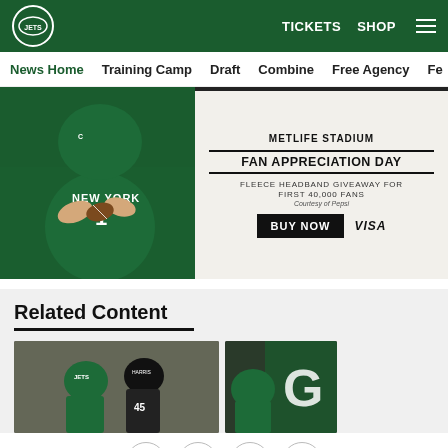New York Jets — TICKETS  SHOP  [menu]
News Home  Training Camp  Draft  Combine  Free Agency  Fe...
[Figure (photo): New York Jets fan appreciation day banner ad featuring a Jets quarterback in green jersey holding a football. Right side reads: METLIFE STADIUM / FAN APPRECIATION DAY / FLEECE HEADBAND GIVEAWAY FOR FIRST 40,000 FANS / Courtesy of Pepsi / BUY NOW  VISA]
Related Content
[Figure (photo): Two football players on field, one in Jets helmet, one in Falcons jersey number 45]
[Figure (photo): Jets player near green wall with letter G visible]